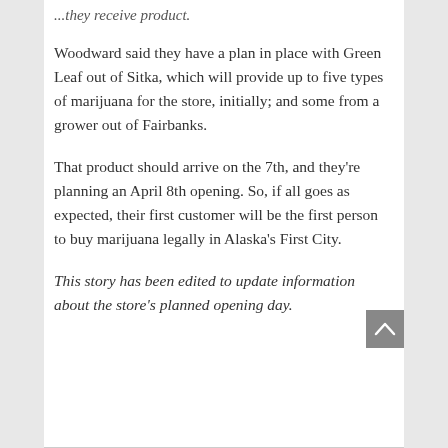...they receive product.
Woodward said they have a plan in place with Green Leaf out of Sitka, which will provide up to five types of marijuana for the store, initially; and some from a grower out of Fairbanks.
That product should arrive on the 7th, and they’re planning an April 8th opening. So, if all goes as expected, their first customer will be the first person to buy marijuana legally in Alaska’s First City.
This story has been edited to update information about the store's planned opening day.